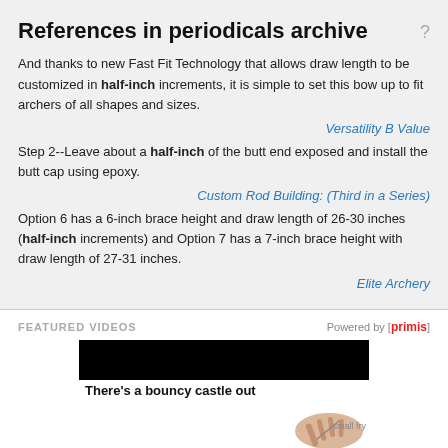References in periodicals archive
And thanks to new Fast Fit Technology that allows draw length to be customized in half-inch increments, it is simple to set this bow up to fit archers of all shapes and sizes.
Versatility B Value
Step 2--Leave about a half-inch of the butt end exposed and install the butt cap using epoxy.
Custom Rod Building: (Third in a Series)
Option 6 has a 6-inch brace height and draw length of 26-30 inches (half-inch increments) and Option 7 has a 7-inch brace height with draw length of 27-31 inches.
Elite Archery
[Figure (screenshot): Featured Videos section with 'Powered by [primis]' logo and a video thumbnail showing 'There's a bouncy castle out' caption with a hand holding a pen illustration and small fry label]